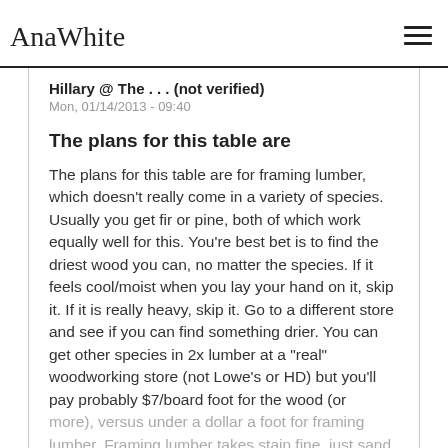AnaWhite
Hillary @ The . . . (not verified)
Mon, 01/14/2013 - 09:40
The plans for this table are
The plans for this table are for framing lumber, which doesn't really come in a variety of species. Usually you get fir or pine, both of which work equally well for this. You're best bet is to find the driest wood you can, no matter the species. If it feels cool/moist when you lay your hand on it, skip it. If it is really heavy, skip it. Go to a different store and see if you can find something drier. You can get other species in 2x lumber at a "real" woodworking store (not Lowe's or HD) but you'll pay probably $7/board foot for the wood (or more), versus under a dollar a foot for framing lumber. Framing lumber takes stain fine, just sand it well and be generous with the sand...